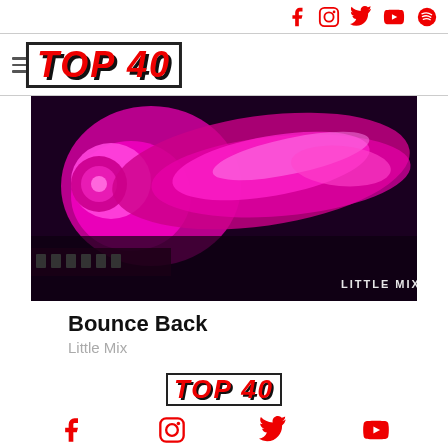Social media icons: Facebook, Instagram, Twitter, YouTube, Spotify
TOP 40
[Figure (photo): Album art for Bounce Back by Little Mix — a close-up of pink/magenta translucent object on dark background with 'LITTLE MIX' text in bottom right corner]
Bounce Back
Little Mix
TOP 40 footer logo with social media icons: Facebook, Instagram, Twitter, YouTube